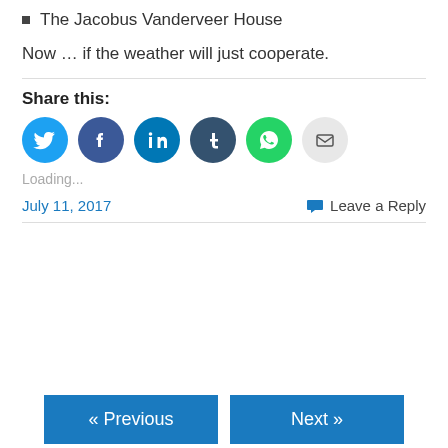The Jacobus Vanderveer House
Now … if the weather will just cooperate.
Share this:
[Figure (infographic): Row of social share buttons: Twitter (blue), Facebook (dark blue), LinkedIn (medium blue), Tumblr (dark navy), WhatsApp (green), Email (light gray)]
Loading...
July 11, 2017
Leave a Reply
« Previous   Next »